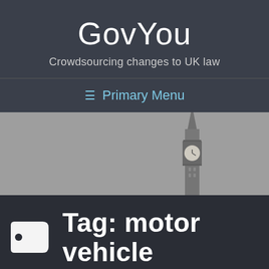GovYou
Crowdsourcing changes to UK law
☰ Primary Menu
[Figure (photo): Grayscale photo of Big Ben clock tower against a grey sky]
Tag: motor vehicle